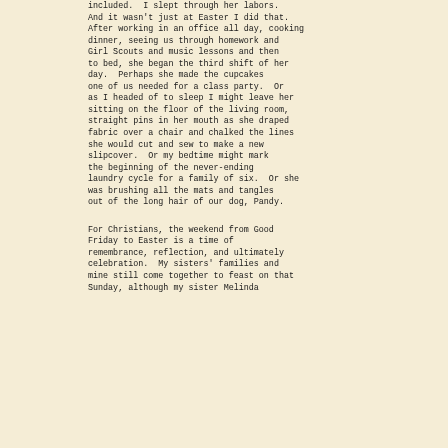included.  I slept through her labors. And it wasn't just at Easter I did that. After working in an office all day, cooking dinner, seeing us through homework and Girl Scouts and music lessons and then to bed, she began the third shift of her day.  Perhaps she made the cupcakes one of us needed for a class party.  Or as I headed of to sleep I might leave her sitting on the floor of the living room, straight pins in her mouth as she draped fabric over a chair and chalked the lines she would cut and sew to make a new slipcover.  Or my bedtime might mark the beginning of the never-ending laundry cycle for a family of six.  Or she was brushing all the mats and tangles out of the long hair of our dog, Pandy.
For Christians, the weekend from Good Friday to Easter is a time of remembrance, reflection, and ultimately celebration.  My sisters' families and mine still come together to feast on that Sunday, although my sister Melinda